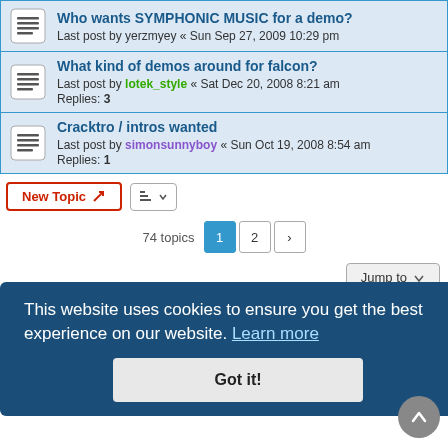Who wants SYMPHONIC MUSIC for a demo? Last post by yerzmyey « Sun Sep 27, 2009 10:29 pm
What kind of demos around for falcon? Last post by lotek_style « Sat Dec 20, 2008 8:21 am Replies: 3
Cracktro / intros wanted Last post by simonsunnyboy « Sun Oct 19, 2008 8:54 am Replies: 1
New Topic
74 topics  1  2  >
Jump to
FORUM PERMISSIONS
This website uses cookies to ensure you get the best experience on our website. Learn more
Got it!